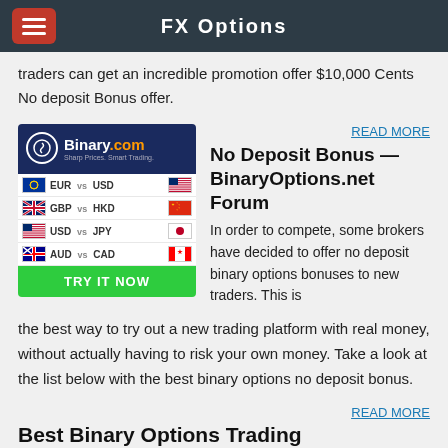FX Options
traders can get an incredible promotion offer $10,000 Cents No deposit Bonus offer.
[Figure (illustration): Binary.com advertisement showing logo, currency pairs (EUR vs USD, GBP vs HKD, USD vs JPY, AUD vs CAD) with flags, and a green TRY IT NOW button]
READ MORE
No Deposit Bonus — BinaryOptions.net Forum
In order to compete, some brokers have decided to offer no deposit binary options bonuses to new traders. This is the best way to try out a new trading platform with real money, without actually having to risk your own money. Take a look at the list below with the best binary options no deposit bonus.
READ MORE
Best Binary Options Trading